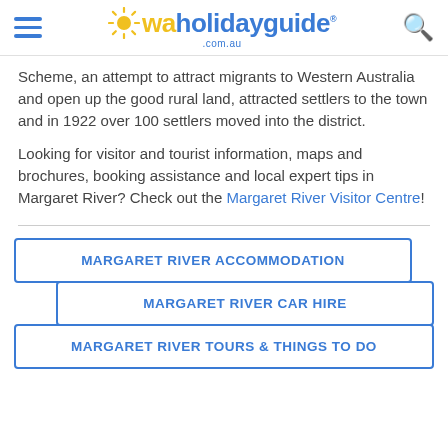waholidayguide .com.au
Scheme, an attempt to attract migrants to Western Australia and open up the good rural land, attracted settlers to the town and in 1922 over 100 settlers moved into the district.
Looking for visitor and tourist information, maps and brochures, booking assistance and local expert tips in Margaret River? Check out the Margaret River Visitor Centre!
MARGARET RIVER ACCOMMODATION
MARGARET RIVER CAR HIRE
MARGARET RIVER TOURS & THINGS TO DO